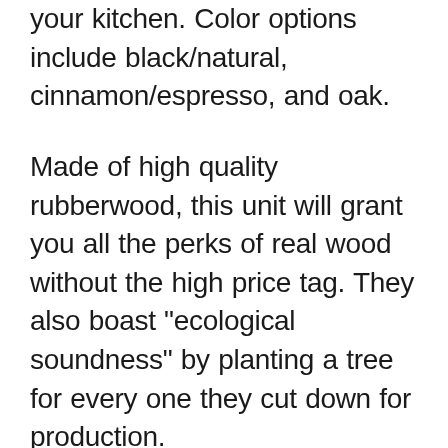your kitchen. Color options include black/natural, cinnamon/espresso, and oak.
Made of high quality rubberwood, this unit will grant you all the perks of real wood without the high price tag. They also boast "ecological soundness" by planting a tree for every one they cut down for production.
The unit is equipped with locking castors that make transportation e...